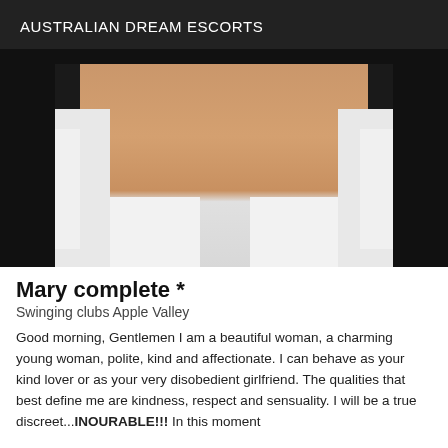AUSTRALIAN DREAM ESCORTS
[Figure (photo): Cropped photo of a woman from behind wearing white knee-high socks, surrounded by white fluffy material, against a dark background]
Mary complete *
Swinging clubs Apple Valley
Good morning, Gentlemen I am a beautiful woman, a charming young woman, polite, kind and affectionate. I can behave as your kind lover or as your very disobedient girlfriend. The qualities that best define me are kindness, respect and sensuality. I will be a true discreet...